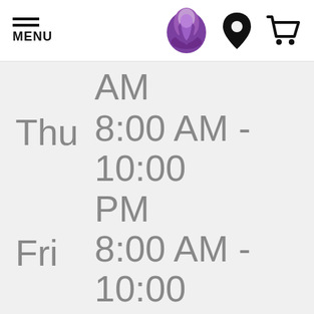MENU | Taco Bell logo | Location icon | Cart icon
| Day | Hours |
| --- | --- |
|  | AM |
| Thu | 8:00 AM - 10:00 PM |
| Fri | 8:00 AM - 10:00 PM |
| Sat | 8:00 AM - 2:00 AM |
| Sun | 8:00 AM - 10:00 |